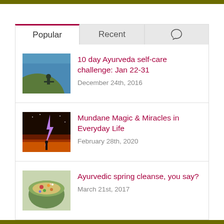Popular | Recent | [chat icon]
10 day Ayurveda self-care challenge: Jan 22-31
December 24th, 2016
Mundane Magic & Miracles in Everyday Life
February 28th, 2020
Ayurvedic spring cleanse, you say?
March 21st, 2017